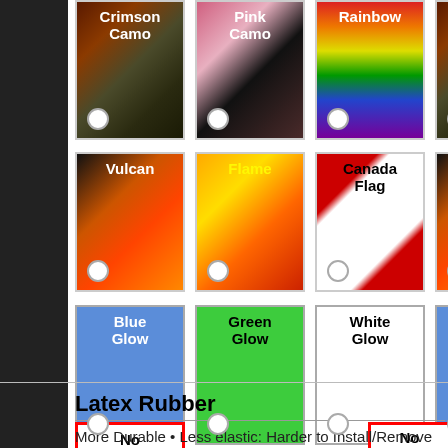[Figure (screenshot): Product color/skin selection grid showing swatches: Crimson Camo, Pink Camo, Rainbow, Vulcan, Flame, Canada Flag, Blue Glow, Green Glow, White Glow, No Silencer options with radio buttons]
Latex Rubber
More Durable • Less elastic: Harder to Install/Remove